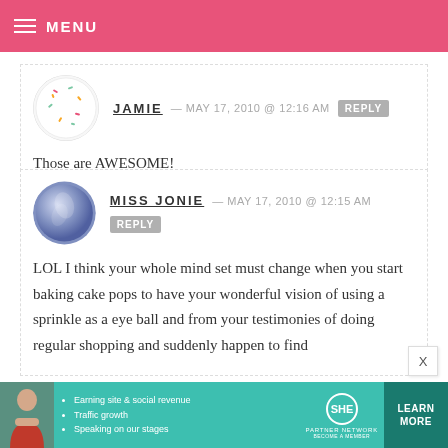MENU
JAMIE — MAY 17, 2010 @ 12:16 AM  REPLY
Those are AWESOME!
MISS JONIE — MAY 17, 2010 @ 12:15 AM  REPLY
LOL I think your whole mind set must change when you start baking cake pops to have your wonderful vision of using a sprinkle as a eye ball and from your testimonies of doing regular shopping and suddenly happen to find
[Figure (infographic): SHE Partner Network advertisement banner with bullet points: Earning site & social revenue, Traffic growth, Speaking on our stages. Includes a LEARN MORE button.]